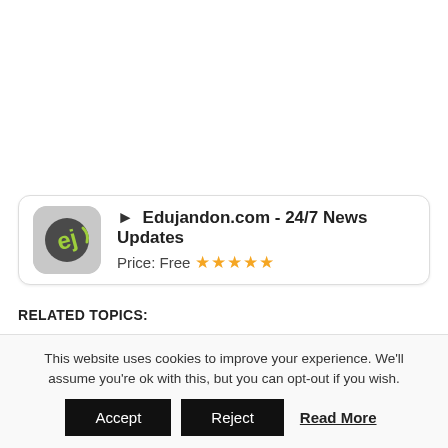[Figure (logo): App icon for Edujandon.com showing a stylized 'ej' logo on grey background with rounded corners]
▶ Edujandon.com - 24/7 News Updates
Price: Free ★★★★★
RELATED TOPICS:
UP NEXT
See this lovely pix of DJ cuppy and her Boyfriend
DON'T MISS
This website uses cookies to improve your experience. We'll assume you're ok with this, but you can opt-out if you wish.
Accept   Reject   Read More